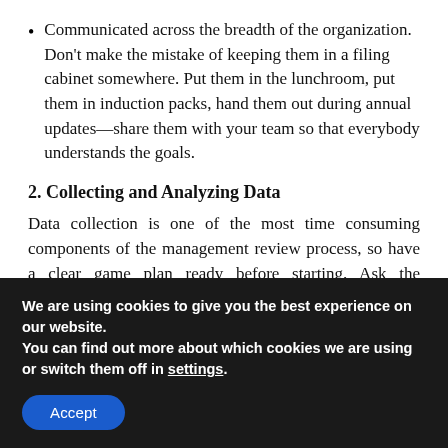Communicated across the breadth of the organization. Don't make the mistake of keeping them in a filing cabinet somewhere. Put them in the lunchroom, put them in induction packs, hand them out during annual updates—share them with your team so that everybody understands the goals.
2. Collecting and Analyzing Data
Data collection is one of the most time consuming components of the management review process, so have a clear game plan ready before starting. Ask the following questions:
We are using cookies to give you the best experience on our website.
You can find out more about which cookies we are using or switch them off in settings.